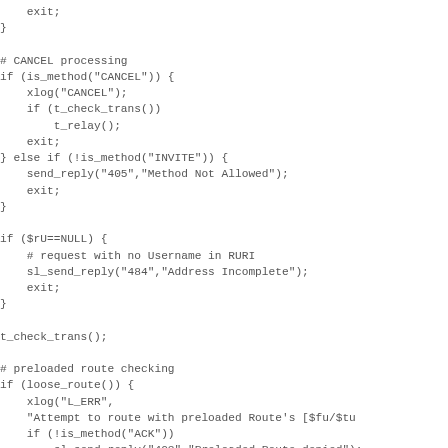exit;
}

# CANCEL processing
if (is_method("CANCEL")) {
    xlog("CANCEL");
    if (t_check_trans())
        t_relay();
    exit;
} else if (!is_method("INVITE")) {
    send_reply("405","Method Not Allowed");
    exit;
}

if ($rU==NULL) {
    # request with no Username in RURI
    sl_send_reply("484","Address Incomplete");
    exit;
}

t_check_trans();

# preloaded route checking
if (loose_route()) {
    xlog("L_ERR",
    "Attempt to route with preloaded Route's [$fu/$tu
    if (!is_method("ACK"))
        sl_send_reply("403","Preloaded Route denied");